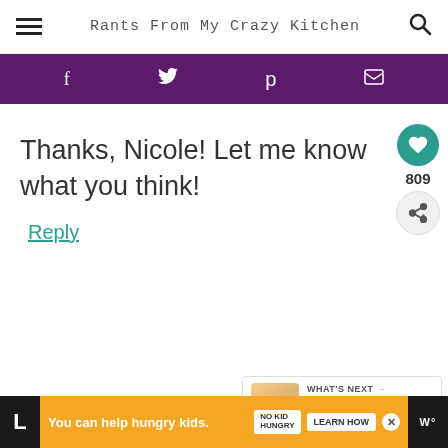Rants From My Crazy Kitchen
[Figure (infographic): Purple social sharing bar with Facebook, Twitter, Pinterest, and email icons in white on dark purple background]
Thanks, Nicole! Let me know what you think!
Reply
[Figure (infographic): Floating sidebar with teal heart button showing 809 likes and a share button]
[Figure (infographic): What's Next panel showing Caramelized Onion Pork... with food thumbnail]
[Figure (infographic): Orange advertisement bar: You can help hungry kids. No Kid Hungry. Learn How.]